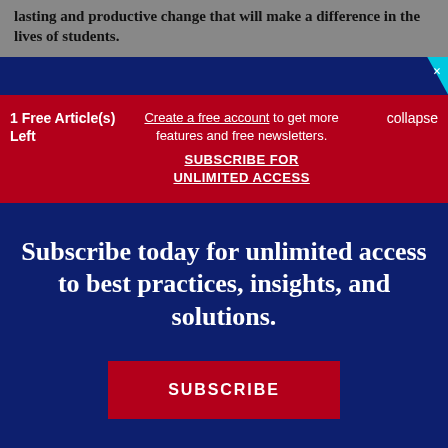lasting and productive change that will make a difference in the lives of students.
1 Free Article(s) Left
Create a free account to get more features and free newsletters.
SUBSCRIBE FOR UNLIMITED ACCESS
collapse
Subscribe today for unlimited access to best practices, insights, and solutions.
SUBSCRIBE